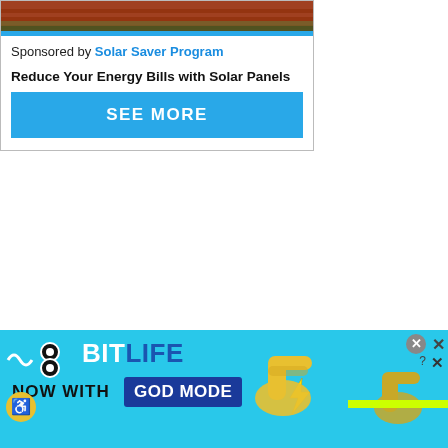[Figure (infographic): Solar Saver Program advertisement with house roof image, tagline 'Reduce Your Energy Bills with Solar Panels' and blue 'SEE MORE' button]
Justin has faced a rough life throughout the series and things seemed to be getting better for him when he agreed to go to rehab at the end of season 3.
So, what happened in the show's final season?
Click inside if you want to know the spoilers
[Figure (infographic): BitLife mobile game advertisement - light blue background with BitLife logo, NOW WITH GOD MODE text, pointing hand illustrations, and close/X buttons]